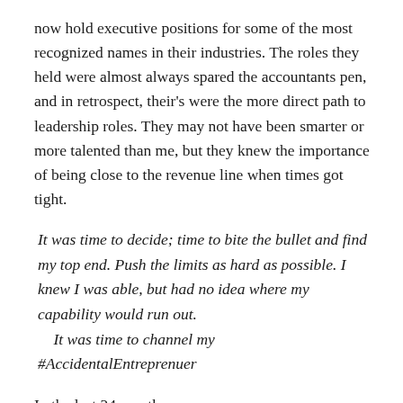now hold executive positions for some of the most recognized names in their industries. The roles they held were almost always spared the accountants pen, and in retrospect, their's were the more direct path to leadership roles. They may not have been smarter or more talented than me, but they knew the importance of being close to the revenue line when times got tight.
It was time to decide; time to bite the bullet and find my top end. Push the limits as hard as possible. I knew I was able, but had no idea where my capability would run out. It was time to channel my #AccidentalEntreprenuer
In the last 24 months:
I've written two sales plans from scratch. While there have been some similarities, each plan was unique to the circumstances of the coverage model